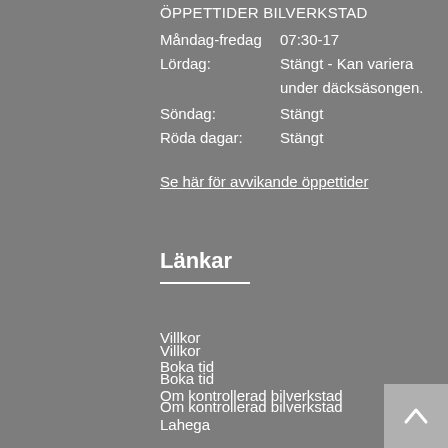ÖPPETTIDER BILVERKSTAD
Måndag-fredag    07:30-17
Lördag:              Stängt - Kan variera under däcksäsongen.
Söndag:              Stängt
Röda dagar:       Stängt
Se här för avvikande öppettider
Länkar
Villkor
Boka tid
Om kontrollerad bilverkstad
Lahega
Fordonsuppgifter